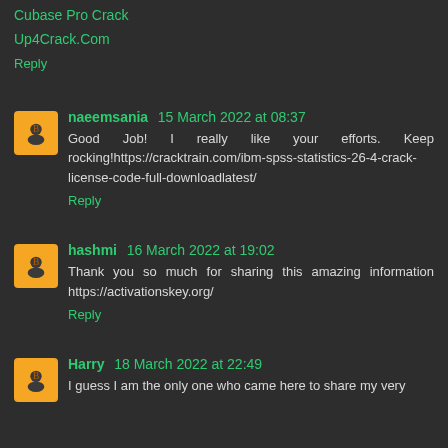Cubase Pro Crack
Up4Crack.Com
Reply
naeemsania 15 March 2022 at 08:37
Good Job! I really like your efforts. Keep rocking!https://cracktrain.com/ibm-spss-statistics-26-4-crack-license-code-full-downloadlatest/
Reply
hashmi 16 March 2022 at 19:02
Thank you so much for sharing this amazing information https://activationskey.org/
Reply
Harry 18 March 2022 at 22:49
I guess I am the only one who came here to share my very